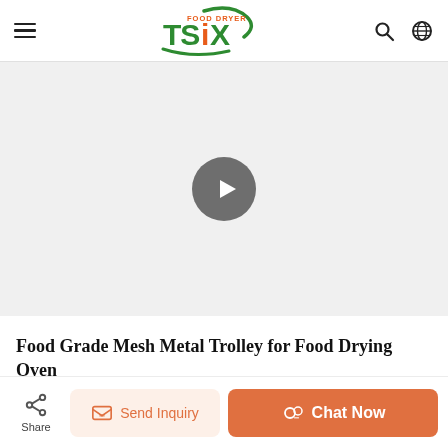[Figure (logo): Food Dryer TSIX logo with green swoosh and orange accent]
[Figure (screenshot): Video player placeholder with grey play button on light background]
Food Grade Mesh Metal Trolley for Food Drying Oven
[Figure (infographic): Bottom action bar with Share button, Send Inquiry button, and Chat Now button]